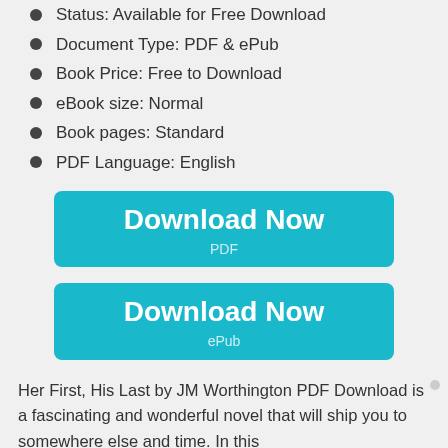Status: Available for Free Download
Document Type: PDF & ePub
Book Price: Free to Download
eBook size: Normal
Book pages: Standard
PDF Language: English
[Figure (other): Teal Download Now PDF button]
[Figure (other): Teal Download Now ePub button]
Her First, His Last by JM Worthington PDF Download is a fascinating and wonderful novel that will ship you to somewhere else and time. In this